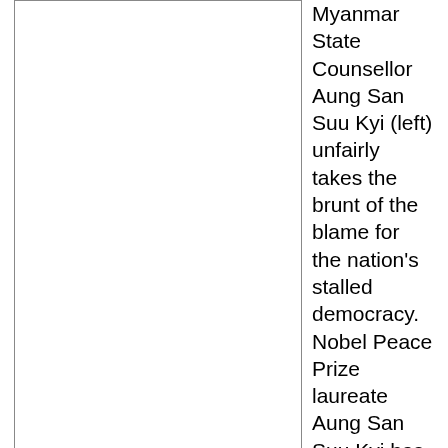[Figure (photo): Photo of Myanmar State Counsellor Aung San Suu Kyi (left), shown in the left column of the page.]
Suu Kyi is just a politician, not a saint as people once thought.
Myanmar State Counsellor Aung San Suu Kyi (left) unfairly takes the brunt of the blame for the nation's stalled democracy. Nobel Peace Prize laureate Aung San Suu Kyi has served as state counsellor of Myanmar since 2016. Although she is essentially prime minister, the country's struggle to build a democracy seems to have stalled.
There is only bad news out of Myanmar, according to Western news reports. Endless sobering articles tell about the persecution of the Rohingya minority, the flight of refugees to Bangladesh, corruption in the